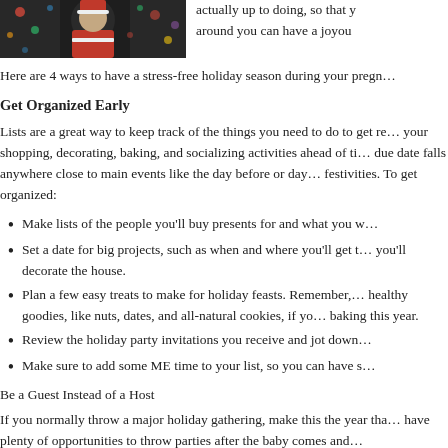[Figure (photo): A person dressed as Santa Claus with Christmas tree lights in background, cropped at top]
actually up to doing, so that y... around you can have a joyou...
Here are 4 ways to have a stress-free holiday season during your pregn...
Get Organized Early
Lists are a great way to keep track of the things you need to do to get re... your shopping, decorating, baking, and socializing activities ahead of ti... due date falls anywhere close to main events like the day before or day... festivities. To get organized:
Make lists of the people you'll buy presents for and what you w...
Set a date for big projects, such as when and where you'll get t... you'll decorate the house.
Plan a few easy treats to make for holiday feasts. Remember,... healthy goodies, like nuts, dates, and all-natural cookies, if yo... baking this year.
Review the holiday party invitations you receive and jot down...
Make sure to add some ME time to your list, so you can have s...
Be a Guest Instead of a Host
If you normally throw a major holiday gathering, make this the year tha... have plenty of opportunities to throw parties after the baby comes and...